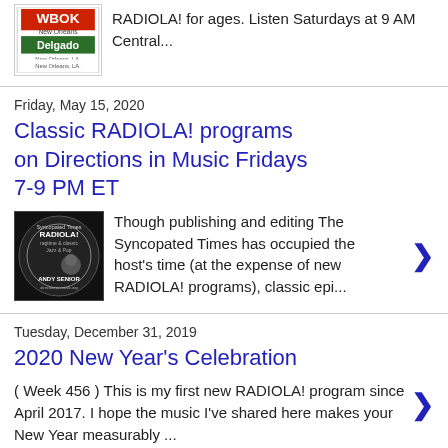[Figure (logo): WBOK New Orleans Delgado radio station logo]
RADIOLA! for ages. Listen Saturdays at 9 AM Central...
Friday, May 15, 2020
Classic RADIOLA! programs on Directions in Music Fridays 7-9 PM ET
[Figure (logo): Syncopated Times RADIOLA! with Andy Senior, Directions in Music logo]
Though publishing and editing The Syncopated Times has occupied the host's time (at the expense of new RADIOLA! programs), classic epi...
Tuesday, December 31, 2019
2020 New Year's Celebration
( Week 456 ) This is my first new RADIOLA! program since April 2017. I hope the music I've shared here makes your New Year measurably ...
2 comments:
Saturday, December 28, 2019